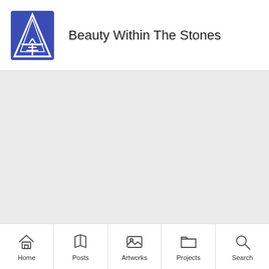[Figure (logo): Blue triangular logo with stylized letter A and tree/pillar design]
Beauty Within The Stones
[Figure (screenshot): Gray empty content area]
Home  Posts  Artworks  Projects  Search